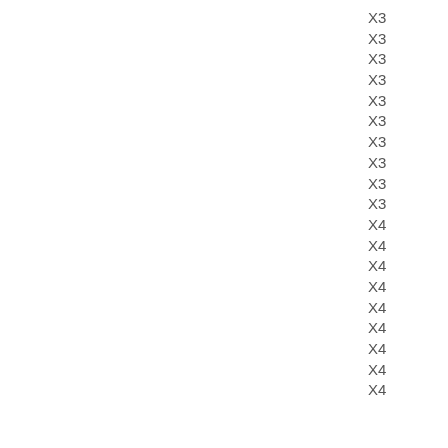X3
X3
X3
X3
X3
X3
X3
X3
X3
X3
X4
X4
X4
X4
X4
X4
X4
X4
X4